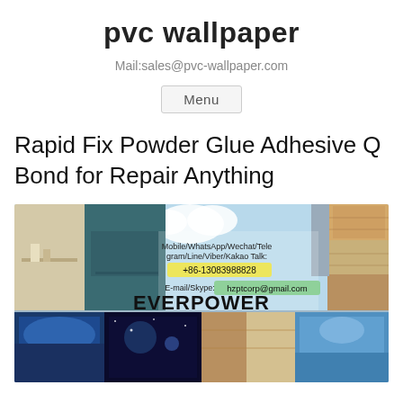pvc wallpaper
Mail:sales@pvc-wallpaper.com
Menu
Rapid Fix Powder Glue Adhesive Q Bond for Repair Anything
[Figure (photo): Advertising banner image for EVERPOWER company showing interior design wallpaper samples, contact info including Mobile/WhatsApp/Wechat/Telegram/Line/Viber/Kakao Talk: +86-13083988828, E-mail/Skype: hzptcorp@gmail.com, brand name EVERPOWER, and various wallpaper product photos below.]